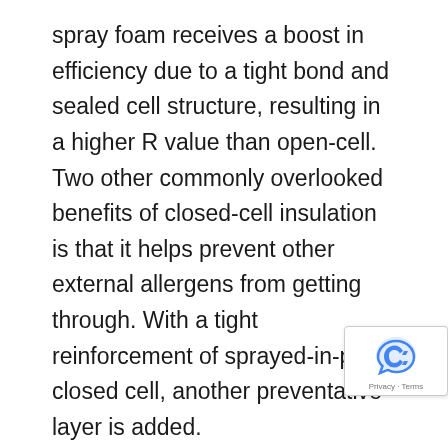spray foam receives a boost in efficiency due to a tight bond and sealed cell structure, resulting in a higher R value than open-cell. Two other commonly overlooked benefits of closed-cell insulation is that it helps prevent other external allergens from getting through. With a tight reinforcement of sprayed-in-place closed cell, another preventative layer is added.
The R value of closed-cell is R-6.5-7 per inch, increasing structural integrity, noise barriers, moisture resistance, and creating an overall tighter building envelope. This makes closed-cell foam insulation a superior choice for insulating exterior walls and roofs—an option not suited for open-cell. There is a growing trend for closed-cell spray foam for new construction because it provides the highest R value and additional protection from extreme